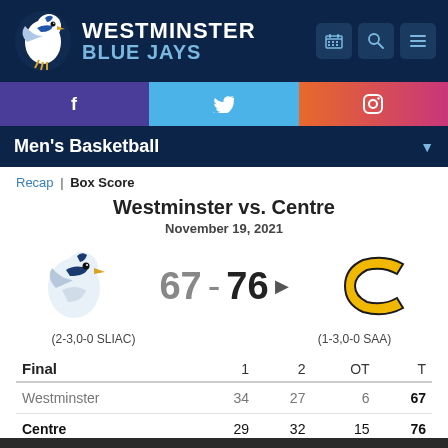[Figure (logo): Westminster Blue Jays header with bird logo and navigation icons]
[Figure (infographic): Social media bar with Facebook, Twitter, Instagram icons]
Men's Basketball
Recap | Box Score
Westminster vs. Centre
November 19, 2021
[Figure (logo): Westminster Blue Jays bird logo and Centre College C logo with score 67 - 76]
(2-3,0-0 SLIAC)
(1-3,0-0 SAA)
| Final | 1 | 2 | OT | T |
| --- | --- | --- | --- | --- |
| Westminster | 34 | 27 | 6 | 67 |
| Centre | 29 | 32 | 15 | 76 |